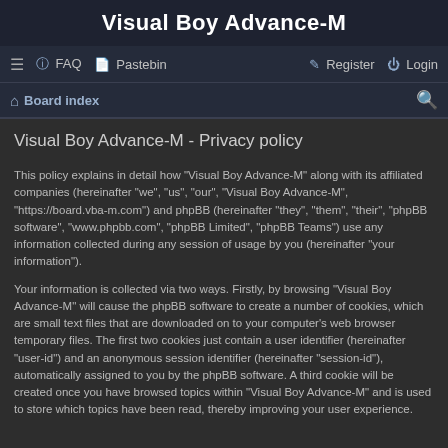Visual Boy Advance-M
≡  FAQ  Pastebin  Register  Login
Board index
Visual Boy Advance-M - Privacy policy
This policy explains in detail how "Visual Boy Advance-M" along with its affiliated companies (hereinafter "we", "us", "our", "Visual Boy Advance-M", "https://board.vba-m.com") and phpBB (hereinafter "they", "them", "their", "phpBB software", "www.phpbb.com", "phpBB Limited", "phpBB Teams") use any information collected during any session of usage by you (hereinafter "your information").
Your information is collected via two ways. Firstly, by browsing "Visual Boy Advance-M" will cause the phpBB software to create a number of cookies, which are small text files that are downloaded on to your computer's web browser temporary files. The first two cookies just contain a user identifier (hereinafter "user-id") and an anonymous session identifier (hereinafter "session-id"), automatically assigned to you by the phpBB software. A third cookie will be created once you have browsed topics within "Visual Boy Advance-M" and is used to store which topics have been read, thereby improving your user experience.